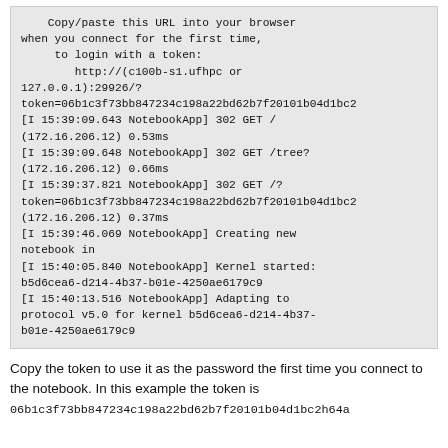[Figure (screenshot): Terminal/console output box showing Jupyter notebook server startup log with URL, token, and HTTP request log entries]
Copy the token to use it as the password the first time you connect to the notebook. In this example the token is
06b1c3f73bb847234c198a22bd62b7f20101b04d1bc2h64a